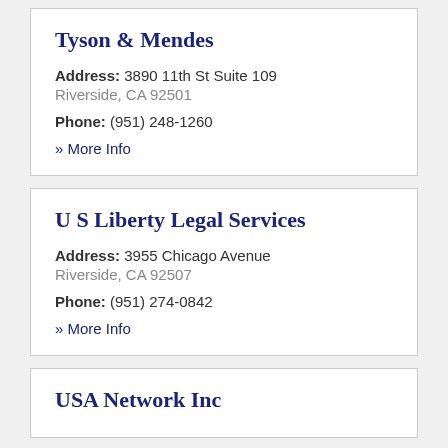Tyson & Mendes
Address: 3890 11th St Suite 109
Riverside, CA 92501
Phone: (951) 248-1260
» More Info
U S Liberty Legal Services
Address: 3955 Chicago Avenue
Riverside, CA 92507
Phone: (951) 274-0842
» More Info
USA Network Inc